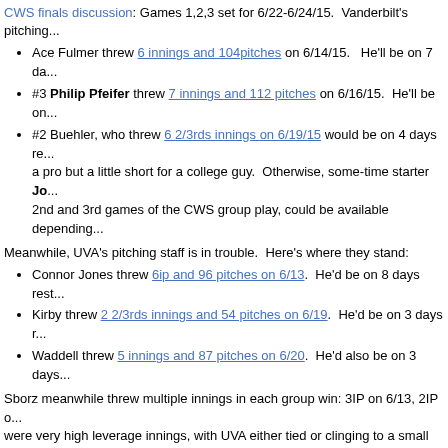CWS finals discussion: Games 1,2,3 set for 6/22-6/24/15. Vanderbilt's pitching...
Ace Fulmer threw 6 innings and 104pitches on 6/14/15. He'll be on 7 da...
#3 Philip Pfeifer threw 7 innings and 112 pitches on 6/16/15. He'll be on...
#2 Buehler, who threw 6 2/3rds innings on 6/19/15 would be on 4 days re... a pro but a little short for a college guy. Otherwise, some-time starter Jo... 2nd and 3rd games of the CWS group play, could be available depending...
Meanwhile, UVA's pitching staff is in trouble. Here's where they stand:
Connor Jones threw 6ip and 96 pitches on 6/13. He'd be on 8 days rest...
Kirby threw 2 2/3rds innings and 54 pitches on 6/19. He'd be on 3 days r...
Waddell threw 5 innings and 87 pitches on 6/20. He'd also be on 3 days...
Sborz meanwhile threw multiple innings in each group win: 3IP on 6/13, 2IP o... were very high leverage innings, with UVA either tied or clinging to a small lea... one of its mid-week starters in Game 2. That would give them Kirby on 4 days... on 3 days rest. You just can't take a guy who hasn't thrown in months and the... rest of his life.
You have to like the way the CWS lines up for Vanderbilt's staff. Jones wasn't... his start (3 runs in 6ip) and Vanderbilt's got a better offense.
I'm note quite sure how Vanderbilt slipped to an #11 seed in this tournament, g... squad. It is worth noting they had no less than nine draftees in the 2015 draft...